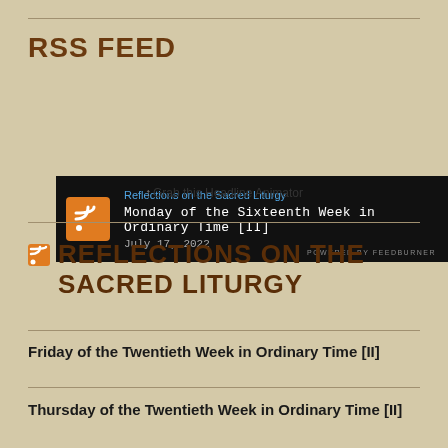RSS FEED
[Figure (screenshot): RSS FeedBurner widget showing 'Reflections on the Sacred Liturgy' blog with post title 'Monday of the Sixteenth Week in Ordinary Time [II]', dated July 17, 2022, with orange RSS icon on black background, POWERED BY FEEDBURNER text at bottom right.]
↑ Grab this Headline Animator
REFLECTIONS ON THE SACRED LITURGY
Friday of the Twentieth Week in Ordinary Time [II]
Thursday of the Twentieth Week in Ordinary Time [II]